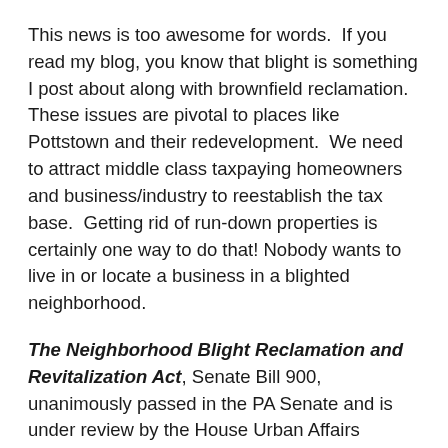This news is too awesome for words.  If you read my blog, you know that blight is something I post about along with brownfield reclamation.  These issues are pivotal to places like Pottstown and their redevelopment.  We need to attract middle class taxpaying homeowners and business/industry to reestablish the tax base.  Getting rid of run-down properties is certainly one way to do that!  Nobody wants to live in or locate a business in a blighted neighborhood.
The Neighborhood Blight Reclamation and Revitalization Act, Senate Bill 900, unanimously passed in the PA Senate and is under review by the House Urban Affairs Committee.
This bill is aimed at slumlords and their neglected